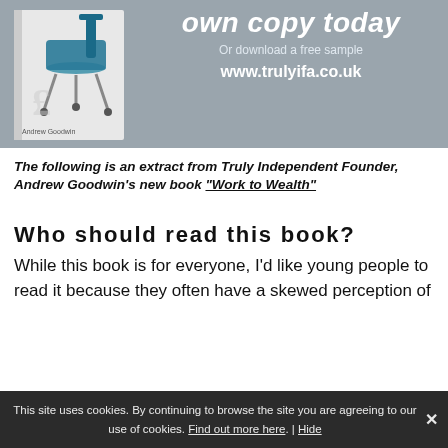[Figure (illustration): Advertisement banner showing a book cover with a blue office chair and pound sign, with text 'own copy today', 'Or download a free sample', and 'www.trulyifa.co.uk' on a grey background. Book attributed to Andrew Goodwin.]
The following is an extract from Truly Independent Founder, Andrew Goodwin's new book "Work to Wealth"
Who should read this book?
While this book is for everyone, I'd like young people to read it because they often have a skewed perception of
This site uses cookies. By continuing to browse the site you are agreeing to our use of cookies. Find out more here. | Hide